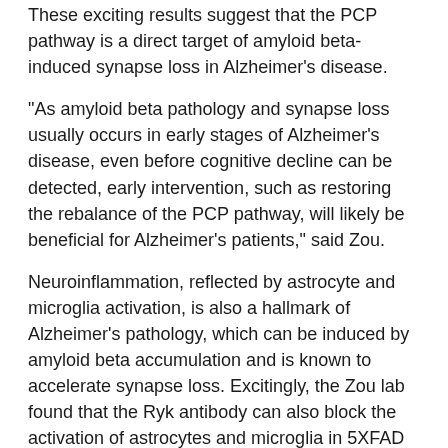These exciting results suggest that the PCP pathway is a direct target of amyloid beta-induced synapse loss in Alzheimer's disease.
"As amyloid beta pathology and synapse loss usually occurs in early stages of Alzheimer's disease, even before cognitive decline can be detected, early intervention, such as restoring the rebalance of the PCP pathway, will likely be beneficial for Alzheimer's patients," said Zou.
Neuroinflammation, reflected by astrocyte and microglia activation, is also a hallmark of Alzheimer's pathology, which can be induced by amyloid beta accumulation and is known to accelerate synapse loss. Excitingly, the Zou lab found that the Ryk antibody can also block the activation of astrocytes and microglia in 5XFAD mice. Although they cannot distinguish whether this is due to the indirect effect of synapse protection or the blockage of Ryk functions in inflammation, or both, Zou believes that the results are consistent with the improved cognitive behavior and further support Ryk as a potential therapeutic target for both